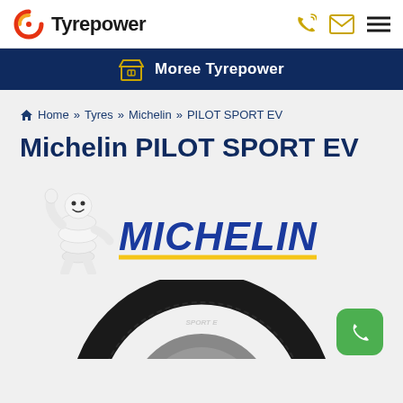Tyrepower
Moree Tyrepower
Home >> Tyres >> Michelin >> PILOT SPORT EV
Michelin PILOT SPORT EV
[Figure (logo): Michelin brand logo with Bibendum mascot and MICHELIN text in blue italic with yellow underline]
[Figure (photo): Michelin PILOT SPORT EV tyre partially visible at bottom of page]